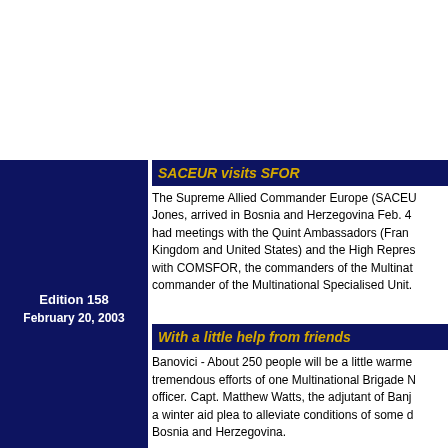Edition 158
February 20, 2003
SACEUR visits SFOR
The Supreme Allied Commander Europe (SACEUR), General James Jones, arrived in Bosnia and Herzegovina Feb. 4. During his visit he had meetings with the Quint Ambassadors (France, Germany, Italy, United Kingdom and United States) and the High Representative. He also met with COMSFOR, the commanders of the Multinational Brigades and the commander of the Multinational Specialised Unit.
With a little help from friends
Banovici - About 250 people will be a little warmer this winter due to tremendous efforts of one Multinational Brigade North (MNB N) Civil Affairs officer. Capt. Matthew Watts, the adjutant of Banja Luka, responded to a winter aid plea to alleviate conditions of some displaced people in Bosnia and Herzegovina.
More than one string to its bow
Doboj - The Multinational Battle Group (MNBG) was activated on January 1st, 2003. Since that date, soldiers from MNBG have been performing tasks similar to the ones they previously performed, but with a new name. The MNBG inherited its Area of Responsibility from the Nordic Polish Battle Group (NPBG), plus the Lukavac Municipality tha...